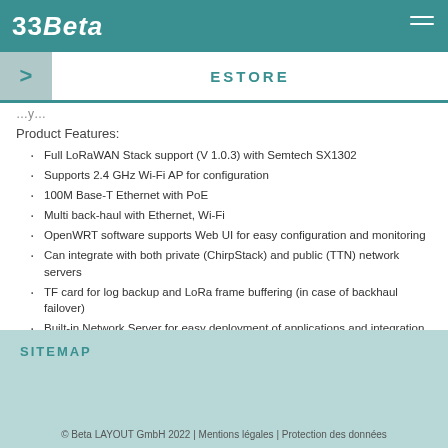33Beta | ESTORE
Product Features:
Full LoRaWAN Stack support (V 1.0.3) with Semtech SX1302
Supports 2.4 GHz Wi-Fi AP for configuration
100M Base-T Ethernet with PoE
Multi back-haul with Ethernet, Wi-Fi
OpenWRT software supports Web UI for easy configuration and monitoring
Can integrate with both private (ChirpStack) and public (TTN) network servers
TF card for log backup and LoRa frame buffering (in case of backhaul failover)
Built-in Network Server for easy deployment of applications and integration of gateways
Scope of delivery:
SITEMAP | © Beta LAYOUT GmbH 2022 | Mentions légales | Protection des données